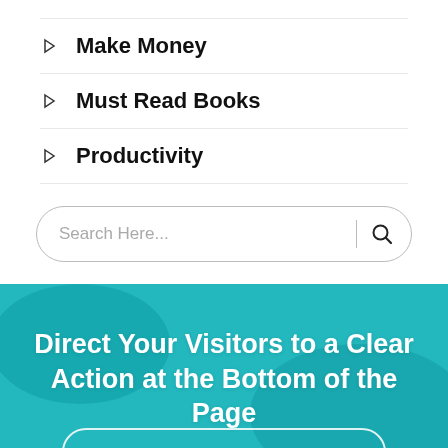Make Money
Must Read Books
Productivity
Search Here...
Direct Your Visitors to a Clear Action at the Bottom of the Page